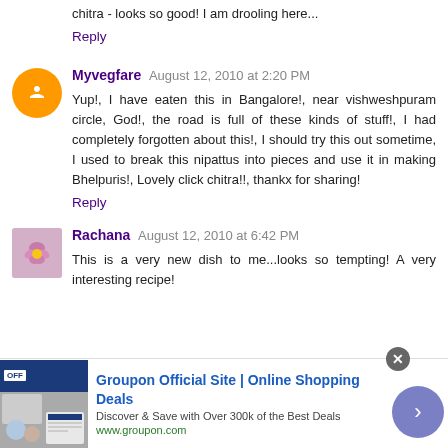chitra - looks so good! I am drooling here...
Reply
Myvegfare  August 12, 2010 at 2:20 PM
Yup!, I have eaten this in Bangalore!, near vishweshpuram circle, God!, the road is full of these kinds of stuff!, I had completely forgotten about this!, I should try this out sometime, I used to break this nipattus into pieces and use it in making Bhelpuris!, Lovely click chitra!!, thankx for sharing!
Reply
Rachana  August 12, 2010 at 6:42 PM
This is a very new dish to me...looks so tempting! A very interesting recipe!
[Figure (infographic): Advertisement banner for Groupon Official Site showing online shopping deals with image of people and Groupon website screenshot]